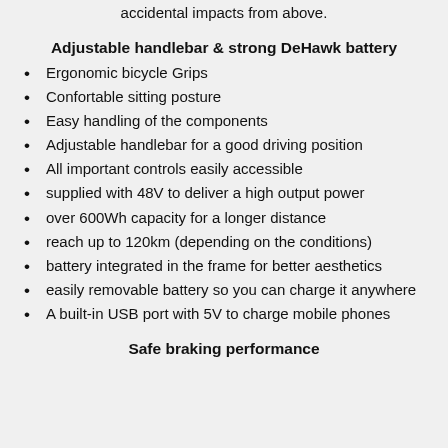accidental impacts from above.
Adjustable handlebar & strong DeHawk battery
Ergonomic bicycle Grips
Confortable sitting posture
Easy handling of the components
Adjustable handlebar for a good driving position
All important controls easily accessible
supplied with 48V to deliver a high output power
over 600Wh capacity for a longer distance
reach up to 120km (depending on the conditions)
battery integrated in the frame for better aesthetics
easily removable battery so you can charge it anywhere
A built-in USB port with 5V to charge mobile phones
Safe braking performance